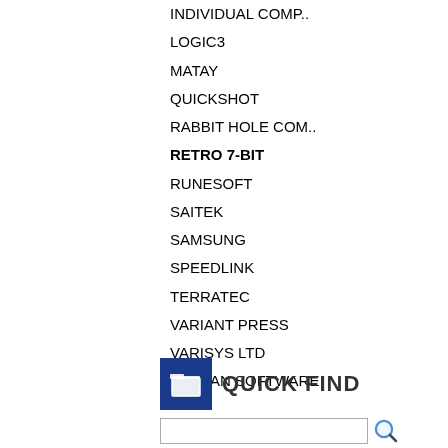INDIVIDUAL COMP..
LOGIC3
MATAY
QUICKSHOT
RABBIT HOLE COM..
RETRO 7-BIT
RUNESOFT
SAITEK
SAMSUNG
SPEEDLINK
TERRATEC
VARIANT PRESS
VARISYS LTD
VULCAN SOFTWARE
QUICK FIND
Use keywords to find the product you are looking for.
Advanced Search